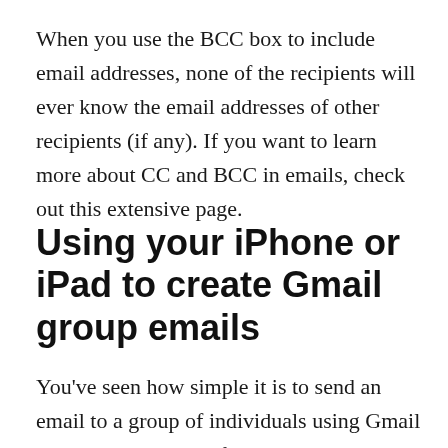When you use the BCC box to include email addresses, none of the recipients will ever know the email addresses of other recipients (if any). If you want to learn more about CC and BCC in emails, check out this extensive page.
Using your iPhone or iPad to create Gmail group emails
You've seen how simple it is to send an email to a group of individuals using Gmail and your computer. If you want to send a group